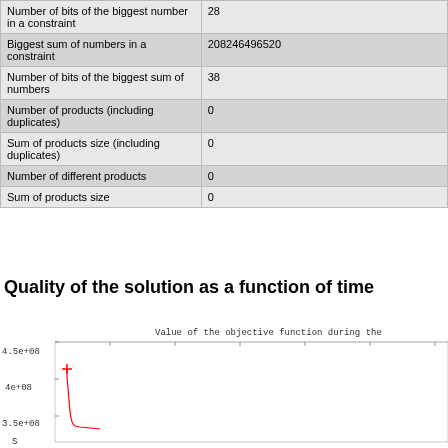| Property | Value |
| --- | --- |
| Number of bits of the biggest number in a constraint | 28 |
| Biggest sum of numbers in a constraint | 208246496520 |
| Number of bits of the biggest sum of numbers | 38 |
| Number of products (including duplicates) | 0 |
| Sum of products size (including duplicates) | 0 |
| Number of different products | 0 |
| Sum of products size | 0 |
Quality of the solution as a function of time
[Figure (continuous-plot): Line chart titled 'Value of the objective function during the ...' showing a red line that sharply decreases from ~4e+08 at the start, dropping steeply near x=0, with y-axis labels 3.5e+08, 4e+08, 4.5e+08 visible. The chart is partially cut off on the right and bottom.]